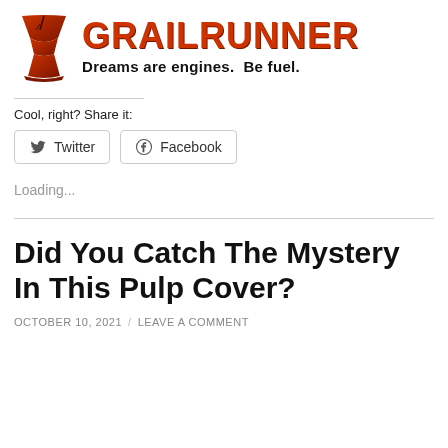[Figure (logo): Grailrunner logo with hourglass/torch icon in dark red and the text GRAILRUNNER in large bold red letters with tagline 'Dreams are engines. Be fuel.']
Cool, right? Share it:
Twitter  Facebook
Loading...
Did You Catch The Mystery In This Pulp Cover?
OCTOBER 10, 2021 / LEAVE A COMMENT